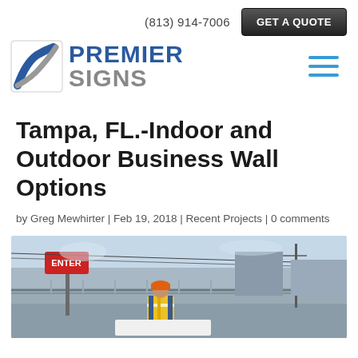(813) 914-7006  GET A QUOTE
[Figure (logo): Premier Signs logo with stylized icon and company name in blue and gray]
Tampa, FL.-Indoor and Outdoor Business Wall Options
by Greg Mewhirter | Feb 19, 2018 | Recent Projects | 0 comments
[Figure (photo): Outdoor photo of a worker in orange hard hat and safety vest standing near an ENTER sign at what appears to be a transit or parking facility]